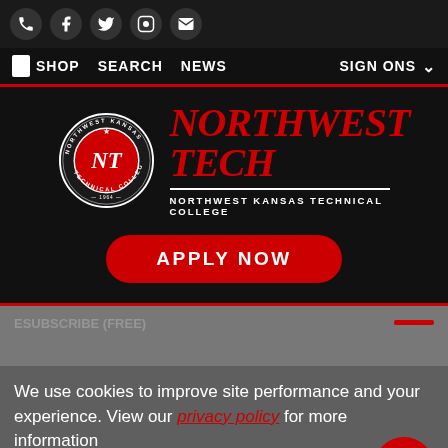[Figure (screenshot): Social media icons bar: phone, Facebook, Twitter, Instagram, email on dark background]
SHOP  SEARCH  NEWS  SIGN ONS
[Figure (logo): Northwest Kansas Technical College seal and wordmark: NORTHWEST TECH / NORTHWEST KANSAS TECHNICAL COLLEGE in red and white on black]
APPLY NOW
We use cookies to improve site performance and your experience. View our privacy policy for more information
OK